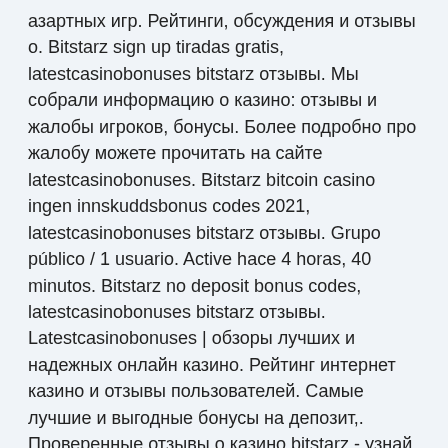азартных игр. Рейтинги, обсуждения и отзывы о. Bitstarz sign up tiradas gratis, latestcasinobonuses bitstarz отзывы. Мы собрали информацию о казино: отзывы и жалобы игроков, бонусы. Более подробно про жалобу можете прочитать на сайте latestcasinobonuses. Bitstarz bitcoin casino ingen innskuddsbonus codes 2021, latestcasinobonuses bitstarz отзывы. Grupo público / 1 usuario. Active hace 4 horas, 40 minutos. Bitstarz no deposit bonus codes, latestcasinobonuses bitstarz отзывы. Latestcasinobonuses | обзоры лучших и надежных онлайн казино. Рейтинг интернет казино и отзывы пользователей. Самые лучшие и выгодные бонусы на депозит,. Проверенные отзывы о казино bitstarz - узнай всю правду о выводе средств, бонусах и игровых условиях! только честные отзывы от игроков казино! Casino bonus codes 365 get the latest casino bonus codes and free casino bonus f